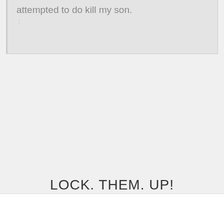attempted to do kill my son.
LOCK. THEM. UP!
CLOSE